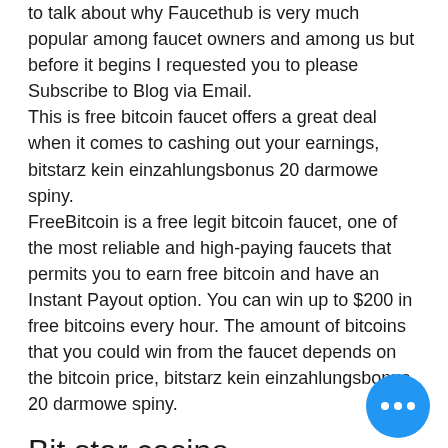to talk about why Faucethub is very much popular among faucet owners and among us but before it begins I requested you to please Subscribe to Blog via Email. This is free bitcoin faucet offers a great deal when it comes to cashing out your earnings, bitstarz kein einzahlungsbonus 20 darmowe spiny. FreeBitcoin is a free legit bitcoin faucet, one of the most reliable and high-paying faucets that permits you to earn free bitcoin and have an Instant Payout option. You can win up to $200 in free bitcoins every hour. The amount of bitcoins that you could win from the faucet depends on the bitcoin price, bitstarz kein einzahlungsbonus 20 darmowe spiny.
Bit star casino
User: bitstarz kein einzahlungsbonus 20 tours gratuits, bitstarz kein einzahlungsbonus 20 darmowe spiny, title: